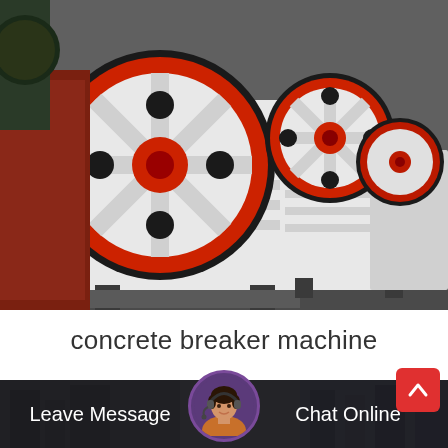[Figure (photo): Row of industrial jaw crusher / concrete breaker machines in a warehouse or factory floor. Machines are white with large red and black flywheel pulleys visible. Multiple units lined up in perspective view.]
concrete breaker machine
[Figure (photo): Footer banner with dark semi-transparent overlay showing factory background image. Contains 'Leave Message' text on left, a circular avatar of a female customer service agent wearing a headset in the center, and 'Chat Online' text on the right. A red scroll-to-top button with a chevron up icon is in the top-right corner.]